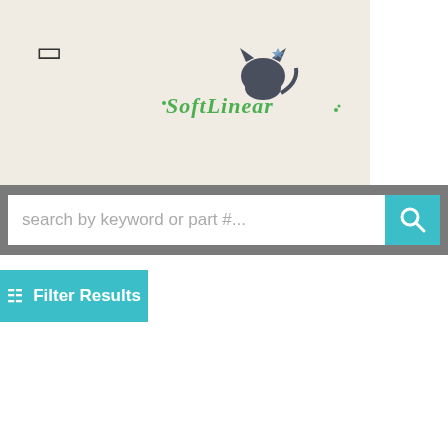[Figure (logo): SoftLinear logo with stylized cat silhouette and green cursive text on beige header background]
search by keyword or part #...
Filter Results